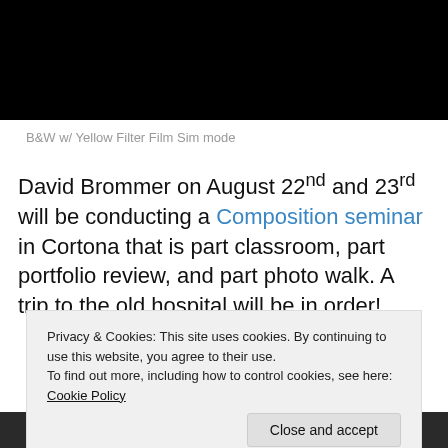[Figure (photo): Dark black photograph at the top of the page, partially visible]
B&W w/ Yellow Filter Film Sim mode
David Brommer on August 22nd and 23rd will be conducting a Composition seminar in Cortona that is part classroom, part portfolio review, and part photo walk. A trip to the old hospital will be in order!
Privacy & Cookies: This site uses cookies. By continuing to use this website, you agree to their use.
To find out more, including how to control cookies, see here: Cookie Policy
[Figure (photo): Dark photograph visible at the bottom of the page]